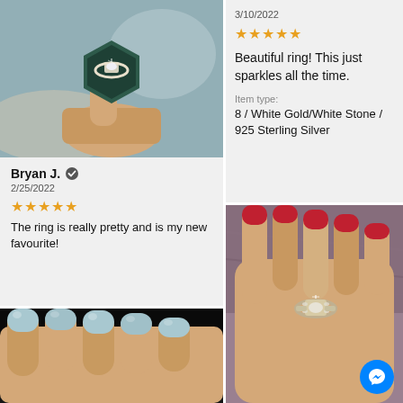[Figure (photo): Hand holding a diamond ring in a dark green hexagonal velvet ring box, displayed in a jewelry store setting]
Bryan J. ✓
2/25/2022
★★★★★
The ring is really pretty and is my new favourite!
3/10/2022
★★★★★
Beautiful ring! This just sparkles all the time.
Item type:
8 / White Gold/White Stone / 925 Sterling Silver
[Figure (photo): Hand with light blue nail polish on a dark background, no ring visible]
[Figure (photo): Hand with red nail polish wearing a large halo diamond cluster ring on a purple fluffy fabric background]